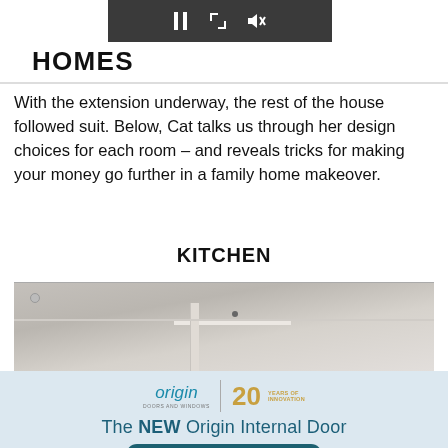[Figure (screenshot): Video player toolbar with pause, expand, and mute buttons on dark background, and an expand arrow in top-right corner]
HOMES
With the extension underway, the rest of the house followed suit. Below, Cat talks us through her design choices for each room – and reveals tricks for making your money go further in a family home makeover.
KITCHEN
[Figure (photo): Interior photo showing white ceiling and walls of a kitchen, partial view]
[Figure (illustration): Advertisement banner for Origin Doors and Windows, 20 Years of Innovation logo, tagline 'The NEW Origin Internal Door', and a button 'Find your nearest installer >']